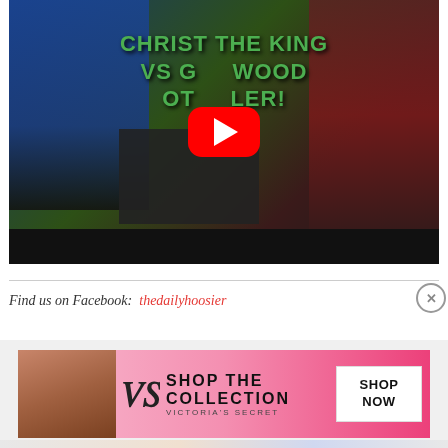[Figure (screenshot): YouTube video thumbnail showing basketball players from Greenwood (blue jerseys) and Christ the King (maroon jerseys) with overlay text 'CHRIST THE KING VS GREENWOOD OT THRILLER!' and a red YouTube play button in the center.]
Find us on Facebook:  thedailyhoosier
[Figure (screenshot): Victoria's Secret advertisement banner with pink gradient background, model photo on left, VS logo, 'SHOP THE COLLECTION' text, and 'SHOP NOW' white button.]